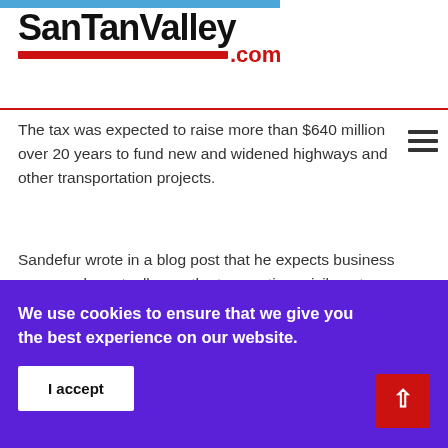SanTanValley.com
The tax was expected to raise more than $640 million over 20 years to fund new and widened highways and other transportation projects.
Sandefur wrote in a blog post that he expects business owners who actually pay the transaction privilege tax system excise tax to get refunds once a final judgment is issued.
We use cookies to ensure that we give you the best experience on our website.
I accept